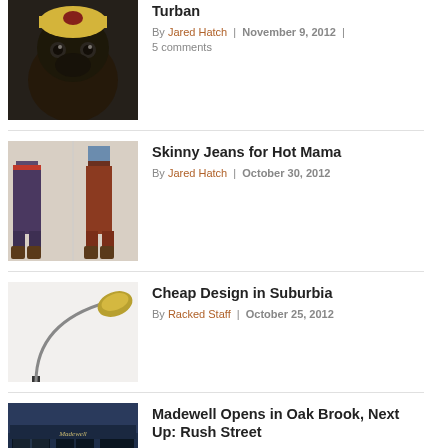[Figure (photo): Dog wearing a turban/headwrap]
Turban
By Jared Hatch | November 9, 2012 | 5 comments
[Figure (photo): Two women wearing skinny jeans]
Skinny Jeans for Hot Mama
By Jared Hatch | October 30, 2012
[Figure (photo): Floor lamp in suburban home setting]
Cheap Design in Suburbia
By Racked Staff | October 25, 2012
[Figure (photo): Madewell store front in Oak Brook]
Madewell Opens in Oak Brook, Next Up: Rush Street
By Racked Staff | October 2, 2012 | 1 comment